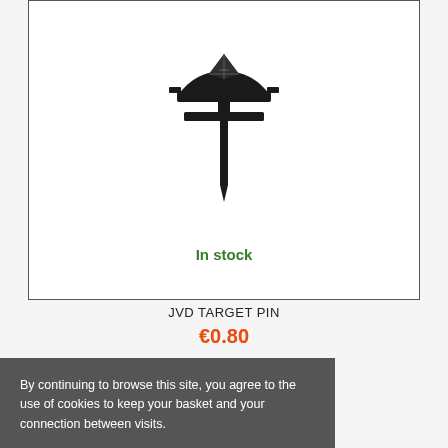[Figure (photo): Black JVD target pin — a T-shaped archery target pin with a semicircular flat head (with a diamond/crosshair logo embossed) and a pointed spike at the bottom.]
In stock
JVD TARGET PIN
€0.80
By continuing to browse this site, you agree to the use of cookies to keep your basket and your connection between visits.
ACCEPT